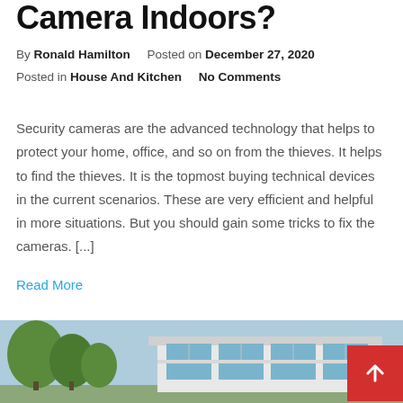Camera Indoors?
By Ronald Hamilton   Posted on December 27, 2020
Posted in House And Kitchen   No Comments
Security cameras are the advanced technology that helps to protect your home, office, and so on from the thieves. It helps to find the thieves. It is the topmost buying technical devices in the current scenarios. These are very efficient and helpful in more situations. But you should gain some tricks to fix the cameras. [...]
Read More
[Figure (photo): Exterior photo of a modern white house with large windows and trees in the background under a blue sky]